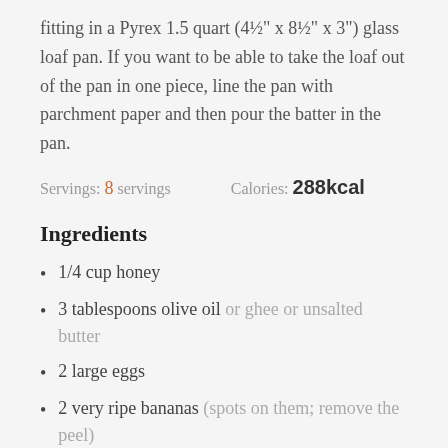fitting in a Pyrex 1.5 quart (4½" x 8½" x 3") glass loaf pan. If you want to be able to take the loaf out of the pan in one piece, line the pan with parchment paper and then pour the batter in the pan.
Servings: 8 servings    Calories: 288kcal
Ingredients
1/4 cup honey
3 tablespoons olive oil or ghee or unsalted butter
2 large eggs
2 very ripe bananas (spots on them; remove the peel)
3/4 teaspoon baking soda